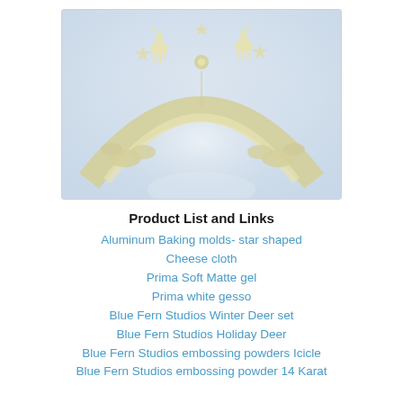[Figure (photo): A decorative cream/ivory lace-like crown or tiara ornament featuring two deer silhouettes, stars, and ornate scrollwork, photographed against a soft light background.]
Product List and Links
Aluminum Baking molds- star shaped
Cheese cloth
Prima Soft Matte gel
Prima white gesso
Blue Fern Studios Winter Deer set
Blue Fern Studios Holiday Deer
Blue Fern Studios embossing powders Icicle
Blue Fern Studios embossing powder 14 Karat